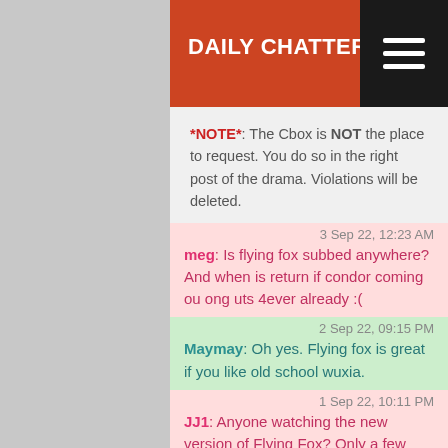DAILY CHATTERING OF THE DEVIL
*NOTE*: The Cbox is NOT the place to request. You do so in the right post of the drama. Violations will be deleted.
3 Sep 22, 12:23 AM
meg: Is flying fox subbed anywhere? And when is return if condor coming ou ong uts 4ever already :(
2 Sep 22, 09:15 PM
Maymay: Oh yes. Flying fox is great if you like old school wuxia.
1 Sep 22, 10:11 PM
JJ1: Anyone watching the new version of Flying Fox? Only a few episodes out but surprisingly good if you're into old school wuxia
1 Sep 22, 07:28 AM
ari: guys!! please please please bring the amazing power of sigma with Yan Ya Lun <3
29 Aug 22, 09:29 PM
maymay: @Tina. Aye. I think it's the styling + eyeliners. Dude should wear them all the time lmao
26 Aug 22, 09:44 PM
meg: any1 think he looks like liu haoran? lol
26 Aug 22, 09:43 PM
meg: with Fairy and devil, the actor that plays changheng, in some angles
26 Aug 22, 05:38 PM
heechung: anyone has link for love like teh galaxy ost download
25 Aug 22, 05:36 PM
Tina: @maymay! Oh That he is! But I didn't find him